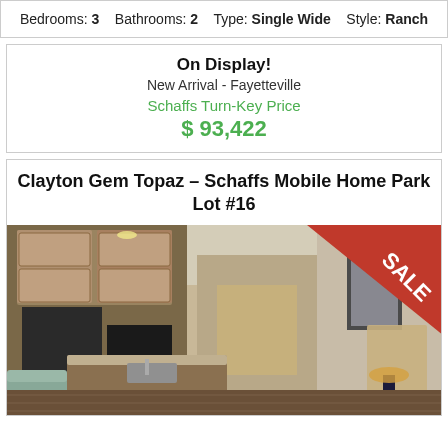Bedrooms: 3   Bathrooms: 2   Type: Single Wide   Style: Ranch
On Display!
New Arrival - Fayetteville
Schaffs Turn-Key Price
$ 93,422
Clayton Gem Topaz – Schaffs Mobile Home Park Lot #16
[Figure (photo): Interior photo of a mobile home showing kitchen with dark cabinets and black appliances, open to living area with teal sofa and lamp on side table, hallway visible in background. SALE banner in upper right corner.]